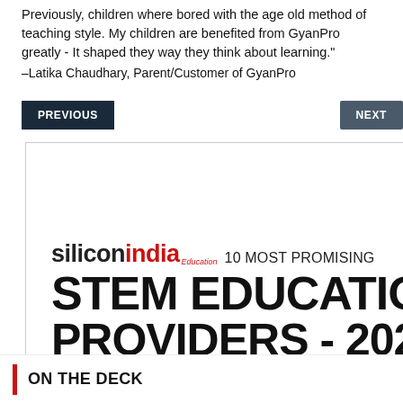Previously, children where bored with the age old method of teaching style. My children are benefited from GyanPro greatly - It shaped they way they think about learning."
–Latika Chaudhary, Parent/Customer of GyanPro
[Figure (other): Navigation buttons: PREVIOUS (dark navy) on left, NEXT (grey) on right]
[Figure (logo): siliconindia Education 10 MOST PROMISING STEM EDUCATION PROVIDERS - 2022 award badge/logo inside a white bordered box]
ON THE DECK